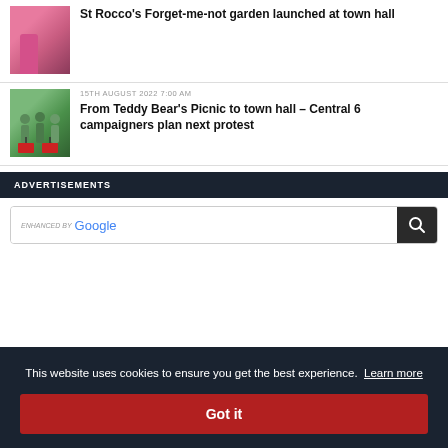[Figure (photo): Person in pink shirt outdoors]
St Rocco’s Forget-me-not garden launched at town hall
15TH AUGUST 2022 7:00 AM
[Figure (photo): Group of people with protest signs]
From Teddy Bear’s Picnic to town hall – Central 6 campaigners plan next protest
ADVERTISEMENTS
[Figure (screenshot): Enhanced by Google search bar with search button]
This website uses cookies to ensure you get the best experience.  Learn more
Got it